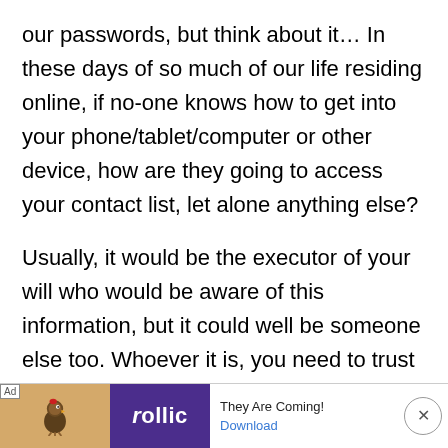our passwords, but think about it… In these days of so much of our life residing online, if no-one knows how to get into your phone/tablet/computer or other device, how are they going to access your contact list, let alone anything else?
Usually, it would be the executor of your will who would be aware of this information, but it could well be someone else too. Whoever it is, you need to trust
[Figure (other): Advertisement banner at bottom of page: 'Ad' label, bird/game app icon on tan background, purple 'follic' brand block, text 'They Are Coming!' with 'Download' link in blue, and a circular close button with X.]